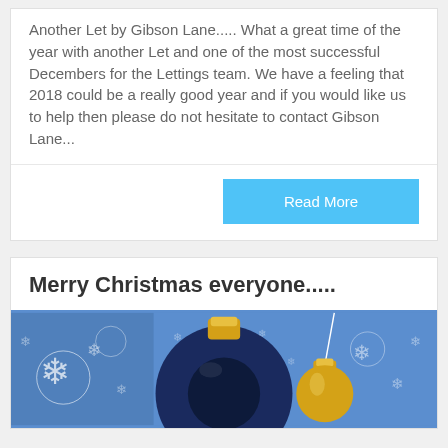Another Let by Gibson Lane..... What a great time of the year with another Let and one of the most successful Decembers for the Lettings team. We have a feeling that 2018 could be a really good year and if you would like us to help then please do not hesitate to contact Gibson Lane...
Read More
Merry Christmas everyone.....
[Figure (illustration): Christmas themed image with blue background, snowflakes, a dark blue bauble ornament, and gold hanging ornaments]